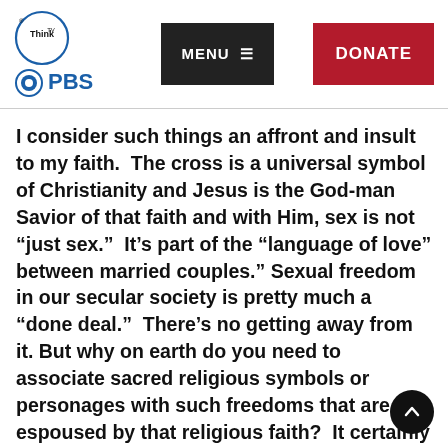ThinkTV PBS | MENU | DONATE
I consider such things an affront and insult to my faith.  The cross is a universal symbol of Christianity and Jesus is the God-man Savior of that faith and with Him, sex is not “just sex.”  It’s part of the “language of love” between married couples.” Sexual freedom in our secular society is pretty much a “done deal.”  There’s no getting away from it. But why on earth do you need to associate sacred religious symbols or personages with such freedoms that are not espoused by that religious faith?  It certainly